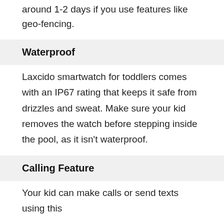around 1-2 days if you use features like geo-fencing.
Waterproof
Laxcido smartwatch for toddlers comes with an IP67 rating that keeps it safe from drizzles and sweat. Make sure your kid removes the watch before stepping inside the pool, as it isn't waterproof.
Calling Feature
Your kid can make calls or send texts using this